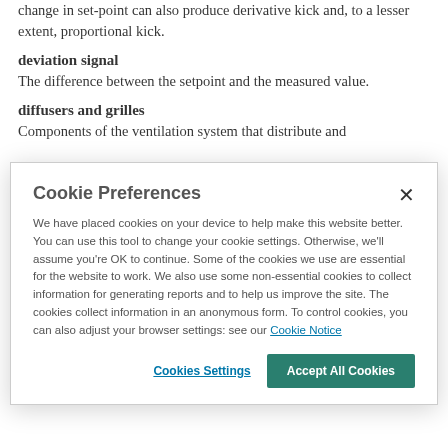change in set-point can also produce derivative kick and, to a lesser extent, proportional kick.
deviation signal
The difference between the setpoint and the measured value.
diffusers and grilles
Components of the ventilation system that distribute and
Cookie Preferences
We have placed cookies on your device to help make this website better. You can use this tool to change your cookie settings. Otherwise, we'll assume you're OK to continue. Some of the cookies we use are essential for the website to work. We also use some non-essential cookies to collect information for generating reports and to help us improve the site. The cookies collect information in an anonymous form. To control cookies, you can also adjust your browser settings: see our Cookie Notice
Cookies Settings
Accept All Cookies